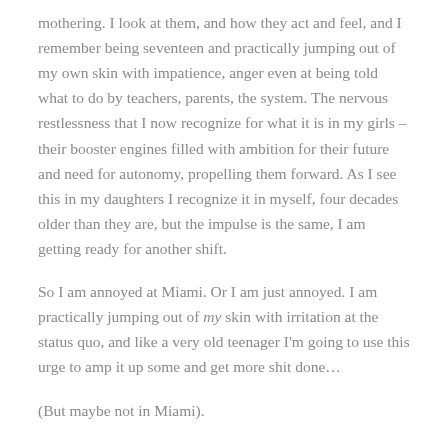mothering. I look at them, and how they act and feel, and I remember being seventeen and practically jumping out of my own skin with impatience, anger even at being told what to do by teachers, parents, the system. The nervous restlessness that I now recognize for what it is in my girls – their booster engines filled with ambition for their future and need for autonomy, propelling them forward. As I see this in my daughters I recognize it in myself, four decades older than they are, but the impulse is the same, I am getting ready for another shift.
So I am annoyed at Miami. Or I am just annoyed. I am practically jumping out of my skin with irritation at the status quo, and like a very old teenager I'm going to use this urge to amp it up some and get more shit done…
(But maybe not in Miami).